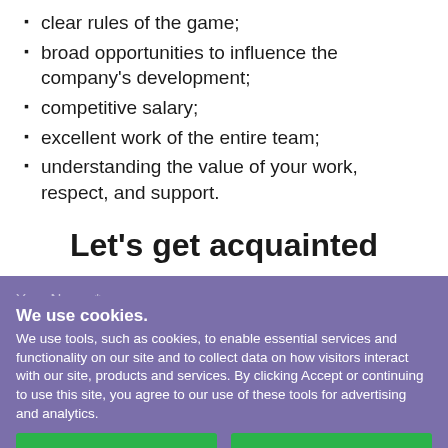clear rules of the game;
broad opportunities to influence the company's development;
competitive salary;
excellent work of the entire team;
understanding the value of your work, respect, and support.
Let's get acquainted
We use cookies.
We use tools, such as cookies, to enable essential services and functionality on our site and to collect data on how visitors interact with our site, products and services. By clicking Accept or continuing to use this site, you agree to our use of these tools for advertising and analytics.